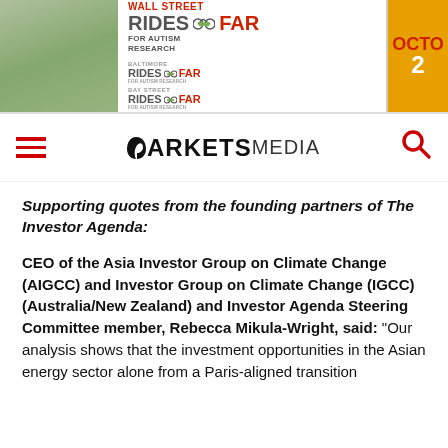[Figure (other): Banner advertisement for Wall Street Rides FAR for Autism Research, Baltimore Rides FAR, and Bay Street Rides FAR for Autism Research. Orange section partially visible with 'Octo' and '2'.]
Markets Media navigation bar with hamburger menu, MARKETS MEDIA logo, and search icon
Supporting quotes from the founding partners of The Investor Agenda:
CEO of the Asia Investor Group on Climate Change (AIGCC) and Investor Group on Climate Change (IGCC) (Australia/New Zealand) and Investor Agenda Steering Committee member, Rebecca Mikula-Wright, said: “Our analysis shows that the investment opportunities in the Asian energy sector alone from a Paris-aligned transition